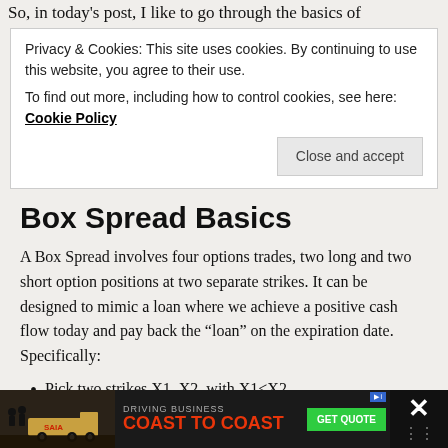So, in today's post, I like to go through the basics of
Privacy & Cookies: This site uses cookies. By continuing to use this website, you agree to their use.
To find out more, including how to control cookies, see here: Cookie Policy
Box Spread Basics
A Box Spread involves four options trades, two long and two short option positions at two separate strikes. It can be designed to mimic a loan where we achieve a positive cash flow today and pay back the “loan” on the expiration date. Specifically:
Pick two strikes X1, X2, with X1<X2.
Sell one Call with strike X1
[Figure (screenshot): Advertisement banner: SAIA truck, 'DRIVING BUSINESS COAST TO COAST' with GET QUOTE button]